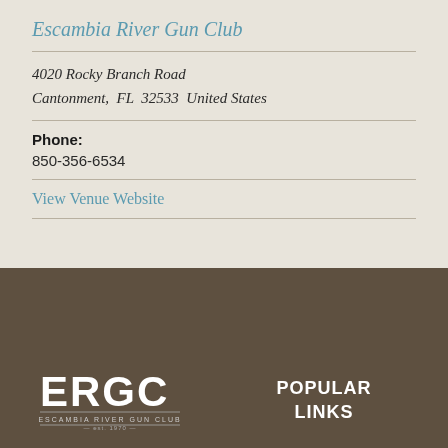Escambia River Gun Club
4020 Rocky Branch Road
Cantonment,  FL  32533  United States
Phone:
850-356-6534
View Venue Website
[Figure (logo): ERGC Escambia River Gun Club logo in white on dark brown background]
POPULAR LINKS